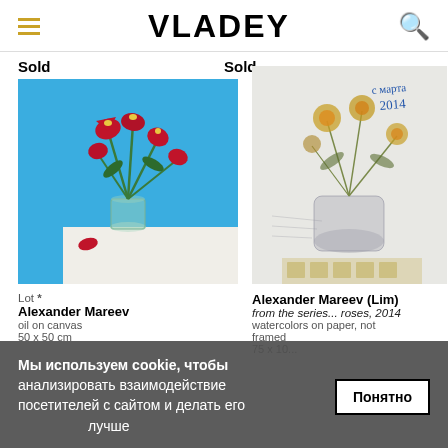VLADEY
Sold
Sold
[Figure (photo): Painting of red flowers (calla lilies) in a glass vase on a white table against a bright blue background, with fallen red petal on the table.]
[Figure (photo): Watercolor painting of yellow wildflowers in a vase with handwritten inscription 'с марта 2014' in top right corner.]
Lot *
Alexander Mareev
oil on canvas
50 x 50 cm
Alexander Mareev (Lim)
from the series... roses, 2014
watercolors on paper, not framed
75 x 10...
[Figure (screenshot): Cookie consent banner overlay reading: Мы используем cookie, чтобы анализировать взаимодействие посетителей с сайтом и делать его лучше, with a 'Понятно' button.]